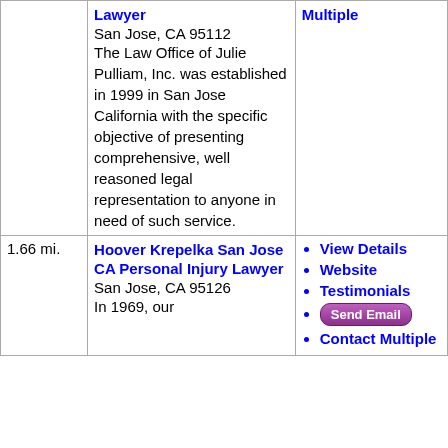| Distance | Firm Info | Links |
| --- | --- | --- |
|  | Lawyer
San Jose, CA 95112
The Law Office of Julie Pulliam, Inc. was established in 1999 in San Jose California with the specific objective of presenting comprehensive, well reasoned legal representation to anyone in need of such service. | Multiple |
| 1.66 mi. | Hoover Krepelka San Jose CA Personal Injury Lawyer
San Jose, CA 95126
In 1969, our... | View Details
Website
Testimonials
Send Email
Contact Multiple |